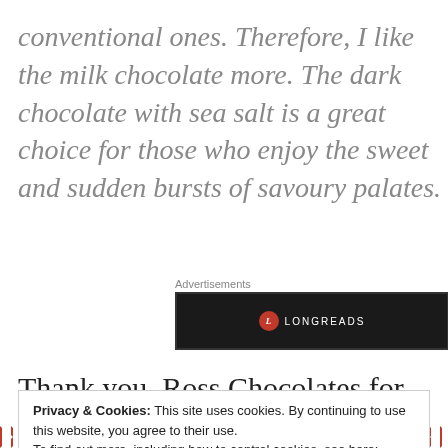conventional ones. Therefore, I like the milk chocolate more. The dark chocolate with sea salt is a great choice for those who enjoy the sweet and sudden bursts of savoury palates.
Advertisements
[Figure (logo): Longreads advertisement banner — black background with red circular L logo and LONGREADS text in white]
Thank you, Ross Chocolates for treating this
Privacy & Cookies: This site uses cookies. By continuing to use this website, you agree to their use.
To find out more, including how to control cookies, see here: Cookie Policy
Close and accept
[Figure (illustration): Repeating red and white chevron/arrow pattern decorative bar at bottom of page]